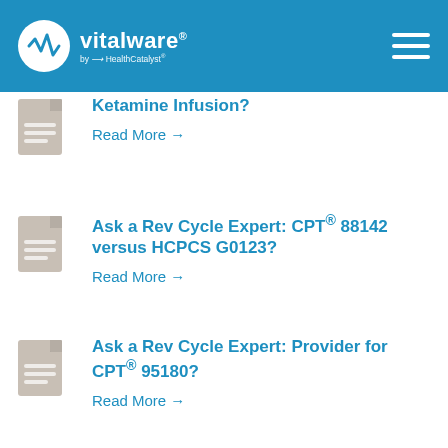Vitalware by HealthCatalyst
Ketamine Infusion?
Read More →
Ask a Rev Cycle Expert: CPT® 88142 versus HCPCS G0123?
Read More →
Ask a Rev Cycle Expert: Provider for CPT® 95180?
Read More →